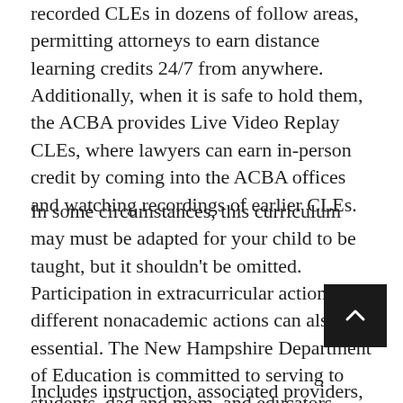recorded CLEs in dozens of follow areas, permitting attorneys to earn distance learning credits 24/7 from anywhere. Additionally, when it is safe to hold them, the ACBA provides Live Video Replay CLEs, where lawyers can earn in-person credit by coming into the ACBA offices and watching recordings of earlier CLEs.
In some circumstances, this curriculum may must be adapted for your child to be taught, but it shouldn't be omitted. Participation in extracurricular actions and different nonacademic actions can also be essential. The New Hampshire Department of Education is committed to serving to students, dad and mom, and educators meet the educational needs of every student.
Includes instruction, associated providers,